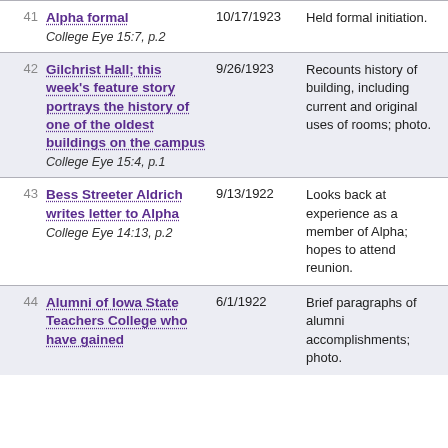| # | Title / Source | Date | Description |
| --- | --- | --- | --- |
| 41 | Alpha formal
College Eye 15:7, p.2 | 10/17/1923 | Held formal initiation. |
| 42 | Gilchrist Hall; this week's feature story portrays the history of one of the oldest buildings on the campus
College Eye 15:4, p.1 | 9/26/1923 | Recounts history of building, including current and original uses of rooms; photo. |
| 43 | Bess Streeter Aldrich writes letter to Alpha
College Eye 14:13, p.2 | 9/13/1922 | Looks back at experience as a member of Alpha; hopes to attend reunion. |
| 44 | Alumni of Iowa State Teachers College who have gained
 | 6/1/1922 | Brief paragraphs of alumni accomplishments; photo. |